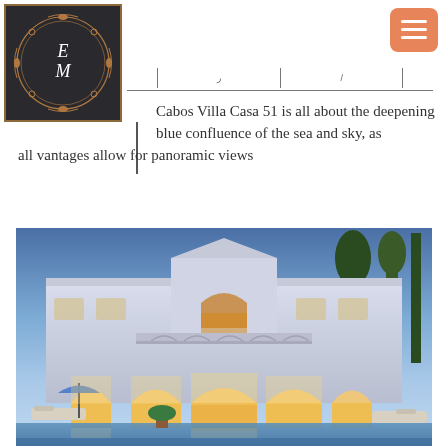[Figure (logo): EM monogram logo in dark background with ornate copper/gold circular border design]
[Figure (other): Menu hamburger icon button in salmon/coral color]
Cabos Villa Casa 51 is all about the deepening blue confluence of the sea and sky, as all vantages allow for panoramic views
[Figure (photo): Exterior night photo of a luxury white villa with arched doorways, ornate balconies, and warm interior lighting, with palm trees and a pool in the foreground]